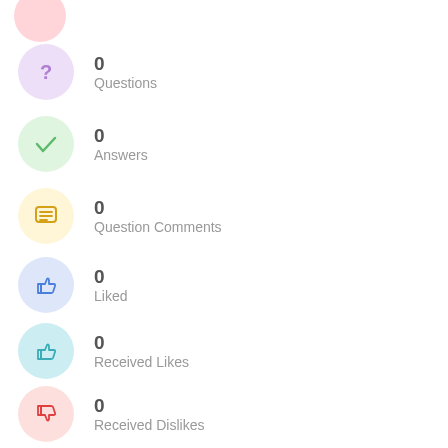0 Questions
0 Answers
0 Question Comments
0 Liked
0 Received Likes
0 Received Dislikes
0/10 Rating